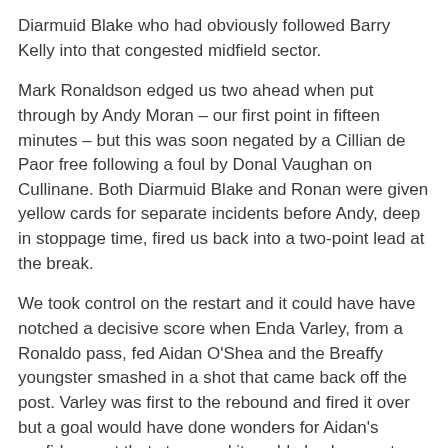Diarmuid Blake who had obviously followed Barry Kelly into that congested midfield sector.
Mark Ronaldson edged us two ahead when put through by Andy Moran – our first point in fifteen minutes – but this was soon negated by a Cillian de Paor free following a foul by Donal Vaughan on Cullinane. Both Diarmuid Blake and Ronan were given yellow cards for separate incidents before Andy, deep in stoppage time, fired us back into a two-point lead at the break.
We took control on the restart and it could have have notched a decisive score when Enda Varley, from a Ronaldo pass, fed Aidan O'Shea and the Breaffy youngster smashed in a shot that came back off the post. Varley was first to the rebound and fired it over but a goal would have done wonders for Aidan's confidence at that stage and it could also have set us on the way to another emphatic win. Instead, we were destined to battle hard for the afternoon's spoils.
Andy, who was having a right old ding-dong with Gary O'Donnell and who was leading the Galway man all over